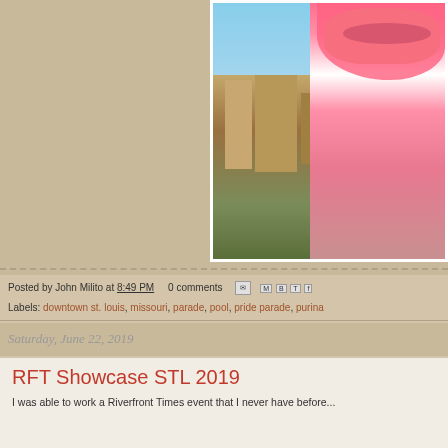[Figure (photo): Partial page showing right side of a blog photo: a man wearing a pink hoodie and sunglasses standing on a rooftop overlooking downtown St. Louis cityscape with blue sky]
Posted by John Milito at 8:49 PM   0 comments
Labels: downtown st. louis, missouri, parade, pool, pride parade, purina
Saturday, June 22, 2019
RFT Showcase STL 2019
I was able to work a Riverfront Times event that I never have before...